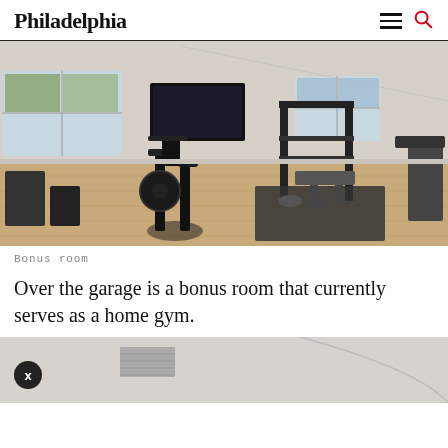Philadelphia
[Figure (photo): Interior photo of a bonus room used as a home gym, featuring a Peloton stationary bike in the foreground, a power rack/squat rack with weights in the center, a flat-screen TV mounted on the wall, large windows, hardwood floors, and vaulted ceiling.]
Bonus room
Over the garage is a bonus room that currently serves as a home gym.
[Figure (photo): Partial view of another room — light gray/white walls visible, appears to be a bathroom or utility area.]